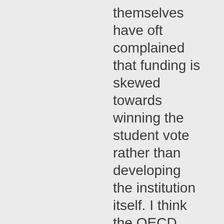themselves have oft complained that funding is skewed towards winning the student vote rather than developing the institution itself. I think the OECD has us as the most generous to